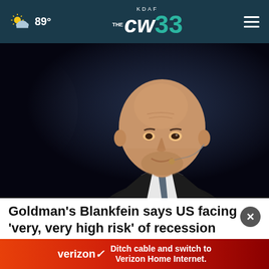89° KDAF CW 33
[Figure (photo): A bald middle-aged man wearing a suit and tie with an earpiece microphone, speaking on a dark background. A blurred figure is partially visible on the left.]
Goldman's Blankfein says US facing 'very, very high risk' of recession
[Figure (infographic): Verizon advertisement banner: 'Ditch cable and switch to Verizon Home Internet.']